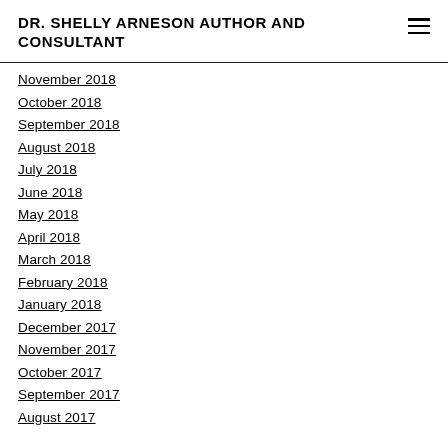DR. SHELLY ARNESON AUTHOR AND CONSULTANT
November 2018
October 2018
September 2018
August 2018
July 2018
June 2018
May 2018
April 2018
March 2018
February 2018
January 2018
December 2017
November 2017
October 2017
September 2017
August 2017